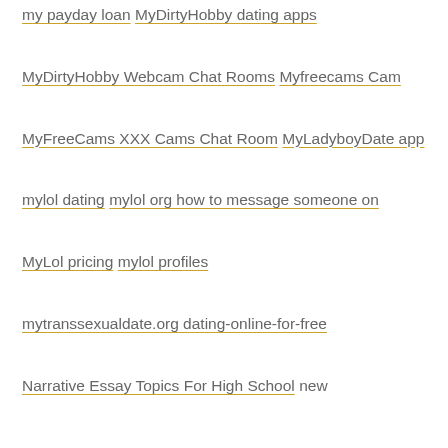my payday loan
MyDirtyHobby dating apps
MyDirtyHobby Webcam Chat Rooms
Myfreecams Cam
MyFreeCams XXX Cams Chat Room
MyLadyboyDate app
mylol dating
mylol org how to message someone on
MyLol pricing
mylol profiles
mytranssexualdate.org dating-online-for-free
Narrative Essay Topics For High School
new